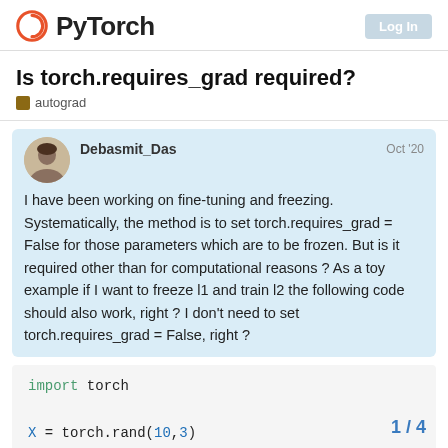PyTorch
Is torch.requires_grad required?
autograd
Debasmit_Das  Oct '20
I have been working on fine-tuning and freezing. Systematically, the method is to set torch.requires_grad = False for those parameters which are to be frozen. But is it required other than for computational reasons ? As a toy example if I want to freeze l1 and train l2 the following code should also work, right ? I don't need to set torch.requires_grad = False, right ?
import torch

X = torch.rand(10,3)
1 / 4